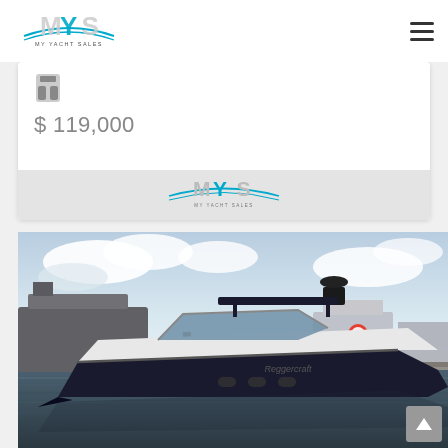My Yacht Sales - Navigation
$ 119,000
[Figure (logo): MYS My Yacht Sales logo centered in card footer]
[Figure (photo): Regal or similar sport cruiser boat docked at marina with other vessels in background, blue sky with clouds]